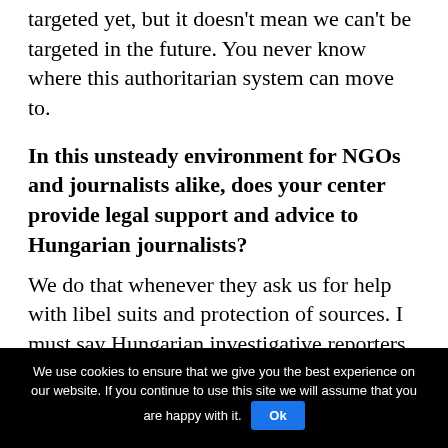targeted yet, but it doesn't mean we can't be targeted in the future. You never know where this authoritarian system can move to.
In this unsteady environment for NGOs and journalists alike, does your center provide legal support and advice to Hungarian journalists?
We do that whenever they ask us for help with libel suits and protection of sources. I must say Hungarian investigative reporters and independent media outlets are very good at accessing to and making the best use of freedom of information acts.
We use cookies to ensure that we give you the best experience on our website. If you continue to use this site we will assume that you are happy with it.  Ok